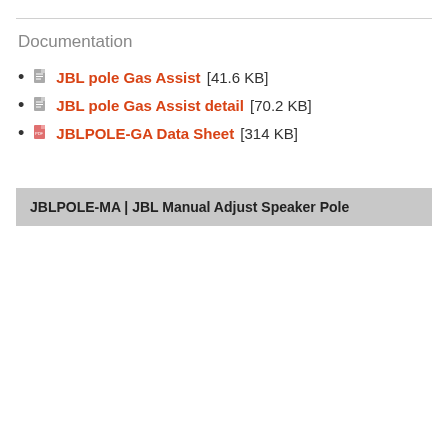Documentation
JBL pole Gas Assist [41.6 KB]
JBL pole Gas Assist detail [70.2 KB]
JBLPOLE-GA Data Sheet [314 KB]
JBLPOLE-MA | JBL Manual Adjust Speaker Pole